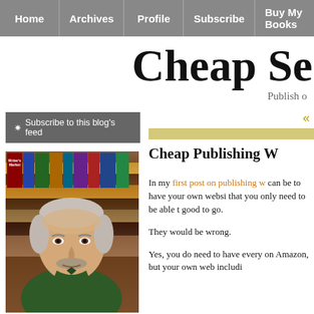Home | Archives | Profile | Subscribe | Buy My Books
Cheap Se[lf-Publishing]
Publish o[n a budget]
Subscribe to this blog's feed
«
[Figure (photo): Headshot of a middle-aged man with grey hair and a mustache, wearing a dark green polo shirt, standing in front of a bookshelf]
Cheap Publishing W[ebsite]
In my first post on publishing w[ebsite] can be to have your own websi[te] that you only need to be able t[o] good to go.

They would be wrong.

Yes, you do need to have every[thing] on Amazon, but your own web[site] includi[ng]